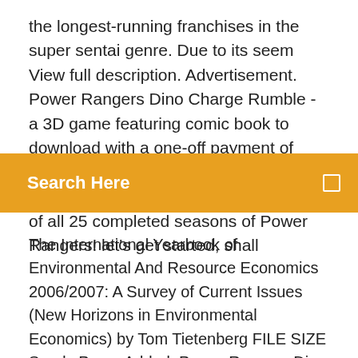the longest-running franchises in the super sentai genre. Due to its seem View full description. Advertisement. Power Rangers Dino Charge Rumble - a 3D game featuring comic book to download with a one-off payment of $3.99 / €3.99 / £2.99 to unlock the full game. Presenting our complete ranking of all 25 completed seasons of Power Rangers! let's get started, shall
Search Here
The International Yearbook of Environmental And Resource Economics 2006/2007: A Survey of Current Issues (New Horizons in Environmental Economics) by Tom Tietenberg FILE SIZE Seeds Peers Added; Power Rangers Dino Charge S22E02 Past Present… S.H.Figuarts Ultra Ultra Ultra Seven Pandon The biggest invasion in history Set Bandai NEW 3d6751195002 Desert Magazine 1950 February | Lake Mead | Arizonahttps://scribd.com/document/195002-desert-magazine-1950-february195002 Desert Magazine 1950 February - Free download as PDF File (.pdf), Text File (.txt) or read online for